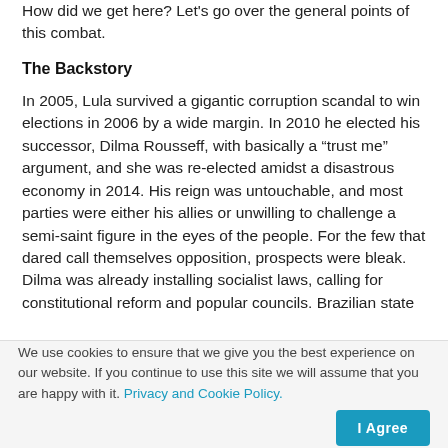How did we get here? Let's go over the general points of this combat.
The Backstory
In 2005, Lula survived a gigantic corruption scandal to win elections in 2006 by a wide margin. In 2010 he elected his successor, Dilma Rousseff, with basically a “trust me” argument, and she was re-elected amidst a disastrous economy in 2014. His reign was untouchable, and most parties were either his allies or unwilling to challenge a semi-saint figure in the eyes of the people. For the few that dared call themselves opposition, prospects were bleak. Dilma was already installing socialist laws, calling for constitutional reform and popular councils. Brazilian state
We use cookies to ensure that we give you the best experience on our website. If you continue to use this site we will assume that you are happy with it. Privacy and Cookie Policy.